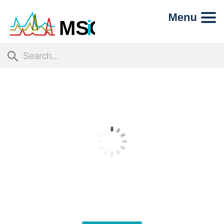[Figure (logo): MSCI logo with colorful waveform graphic and 'MSCi' text in black and teal]
Menu ≡
[Figure (screenshot): Search bar with magnifying glass icon and placeholder text 'Search...']
[Figure (other): Loading spinner (circular dashed spinner animation) in center of page]
[Figure (other): Blue horizontal bar at bottom of page]